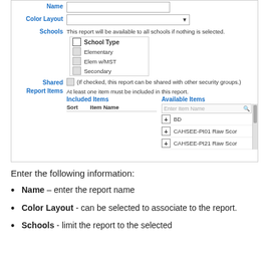[Figure (screenshot): Screenshot of a web form showing fields: Name (text input), Color Layout (dropdown), Schools (checkbox list with School Type, Elementary, Elem w/MST, Secondary), Shared (checkbox with note about security groups), Report Items (with Included Items table showing Sort/Item Name columns, and Available Items panel showing search box and items: BD, CAHSEE-Pt01 Raw Scor, CAHSEE-Pt21 Raw Scor)]
Enter the following information:
Name – enter the report name
Color Layout - can be selected to associate to the report.
Schools - limit the report to the selected